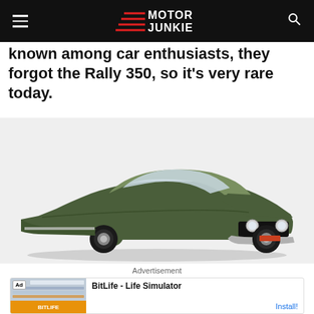Motor Junkie (navigation bar with logo)
known among car enthusiasts, they forgot the Rally 350, so it's very rare today.
[Figure (photo): Classic green Dodge Charger muscle car, approximately late 1960s model, photographed on a white background in a studio setting, three-quarter front view.]
Advertisement
[Figure (screenshot): Advertisement banner for BitLife - Life Simulator app with Install button]